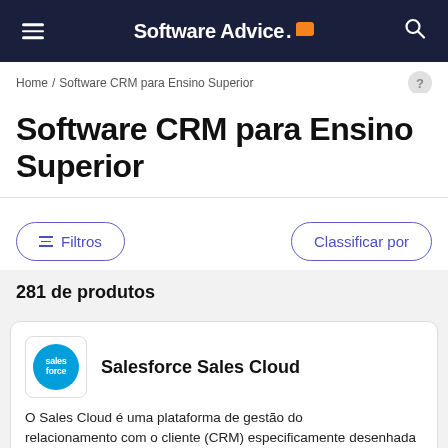Software Advice
Home / Software CRM para Ensino Superior
Software CRM para Ensino Superior
Filtros
Classificar por
281 de produtos
Salesforce Sales Cloud
O Sales Cloud é uma plataforma de gestão do relacionamento com o cliente (CRM) especificamente desenhada para